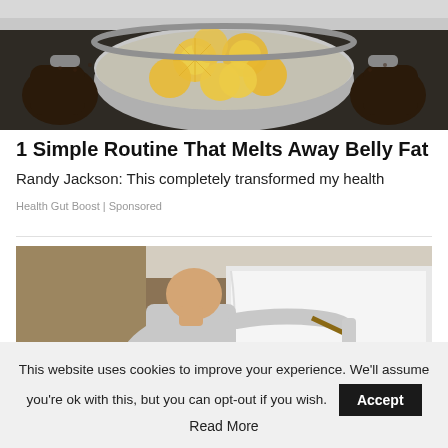[Figure (photo): Person holding a pot with lemon slices floating in liquid, viewed from above]
1 Simple Routine That Melts Away Belly Fat
Randy Jackson: This completely transformed my health
Health Gut Boost | Sponsored
[Figure (photo): Man painting a wall white with a roller, viewed from behind, room walls are tan/brown]
This website uses cookies to improve your experience. We'll assume you're ok with this, but you can opt-out if you wish. Accept
Read More